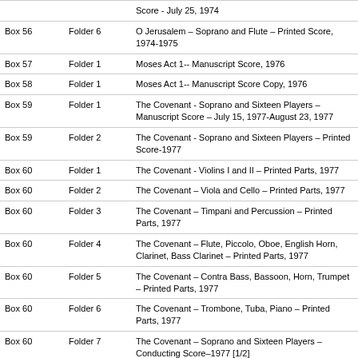| Box | Folder | Description |
| --- | --- | --- |
|  |  | Score - July 25, 1974 |
| Box 56 | Folder 6 | O Jerusalem – Soprano and Flute – Printed Score, 1974-1975 |
| Box 57 | Folder 1 | Moses Act 1-- Manuscript Score, 1976 |
| Box 58 | Folder 1 | Moses Act 1-- Manuscript Score Copy, 1976 |
| Box 59 | Folder 1 | The Covenant - Soprano and Sixteen Players – Manuscript Score – July 15, 1977-August 23, 1977 |
| Box 59 | Folder 2 | The Covenant - Soprano and Sixteen Players – Printed Score-1977 |
| Box 60 | Folder 1 | The Covenant - Violins I and II – Printed Parts, 1977 |
| Box 60 | Folder 2 | The Covenant – Viola and Cello – Printed Parts, 1977 |
| Box 60 | Folder 3 | The Covenant – Timpani and Percussion – Printed Parts, 1977 |
| Box 60 | Folder 4 | The Covenant – Flute, Piccolo, Oboe, English Horn, Clarinet, Bass Clarinet – Printed Parts, 1977 |
| Box 60 | Folder 5 | The Covenant – Contra Bass, Bassoon, Horn, Trumpet – Printed Parts, 1977 |
| Box 60 | Folder 6 | The Covenant – Trombone, Tuba, Piano – Printed Parts, 1977 |
| Box 60 | Folder 7 | The Covenant – Soprano and Sixteen Players – Conducting Score–1977 [1/2] |